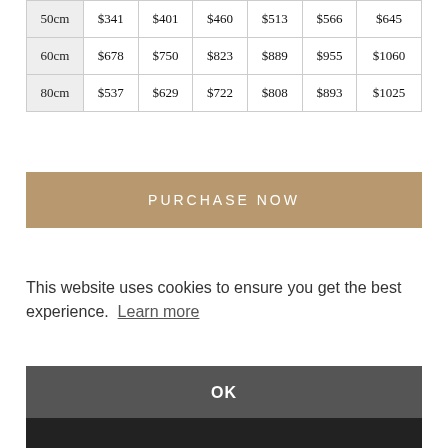| 50cm | $341 | $401 | $460 | $513 | $566 | $645 |
| 60cm | $678 | $750 | $823 | $889 | $955 | $1060 |
| 80cm | $537 | $629 | $722 | $808 | $893 | $1025 |
PURCHASE NOW
This website uses cookies to ensure you get the best experience. Learn more
OK
[Figure (photo): Partial photo visible at bottom of page, appears to be a black and white image]